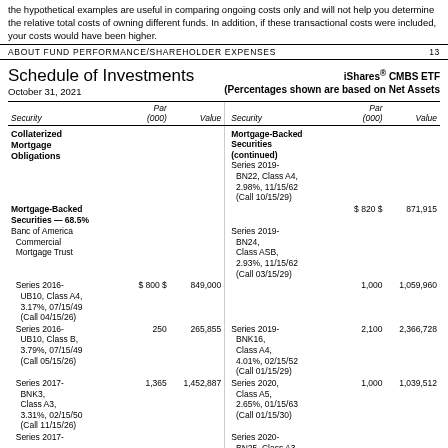the hypothetical examples are useful in comparing ongoing costs only and will not help you determine the relative total costs of owning different funds. In addition, if these transactional costs were included, your costs would have been higher.
About Fund Performance/Shareholder Expenses    13
Schedule of Investments
October 31, 2021
iShares® CMBS ETF
(Percentages shown are based on Net Assets)
| Security | Par (000) | Value | Security | Par (000) | Value |
| --- | --- | --- | --- | --- | --- |
| Collaterized Mortgage Obligations |  |  | Mortgage-Backed Securities (continued) |  |  |
| Mortgage-Backed Securities — 68.5% |  |  | Series 2019-BN22, Class A4, 2.98%, 11/15/62 (Call 10/15/29) | $ 820 $ | 871,915 |
| Banc of America Commercial Mortgage Trust |  |  | Series 2019-BN24, Class ASB, 2.93%, 11/15/62 (Call 03/15/29) | 1,000 | 1,059,960 |
| Series 2016-UB10, Class A4, 3.17%, 07/15/49 (Call 04/15/26) | $ 800 $ | 849,000 | Series 2019-BNK16, Class A4, 4.01%, 02/15/52 (Call 01/15/29) | 2,100 | 2,366,728 |
| Series 2016-UB10, Class B, 3.79%, 07/15/49 (Call 05/15/26) | 250 | 265,855 | Series 2020, Class A5, 2.65%, 01/15/63 (Call 01/15/30) | 1,000 | 1,039,512 |
| Series 2017-BNK3, Class A3, 3.31%, 02/15/50 (Call 11/15/26) | 1,365 | 1,452,887 | Series 2020-BN25, Class A3, |  |  |